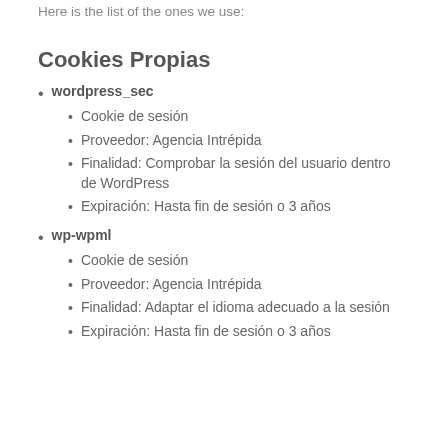Here is the list of the ones we use:
Cookies Propias
wordpress_sec
Cookie de sesión
Proveedor: Agencia Intrépida
Finalidad: Comprobar la sesión del usuario dentro de WordPress
Expiración: Hasta fin de sesión o 3 años
wp-wpml
Cookie de sesión
Proveedor: Agencia Intrépida
Finalidad: Adaptar el idioma adecuado a la sesión
Expiración: Hasta fin de sesión o 3 años